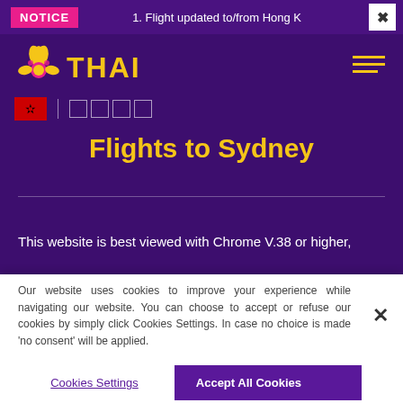NOTICE | 1. Flight updated to/from Hong K
[Figure (logo): Thai Airways logo: stylized flower/lotus icon in gold and pink, with THAI text in gold]
Flights to Sydney
This website is best viewed with Chrome V.38 or higher,
Our website uses cookies to improve your experience while navigating our website. You can choose to accept or refuse our cookies by simply click Cookies Settings. In case no choice is made 'no consent' will be applied.
Cookies Settings
Accept All Cookies